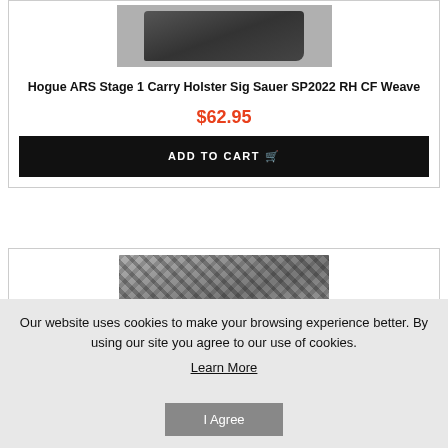[Figure (photo): Black and white photo of a Hogue ARS Stage 1 Carry Holster product, partially visible at top]
Hogue ARS Stage 1 Carry Holster Sig Sauer SP2022 RH CF Weave
$62.95
ADD TO CART
[Figure (photo): Black and white photo of a carbon fiber weave holster]
Our website uses cookies to make your browsing experience better. By using our site you agree to our use of cookies.
Learn More
I Agree